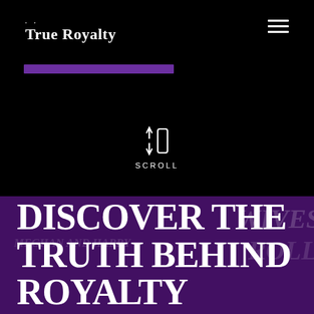True Royalty
[Figure (screenshot): True Royalty streaming service website screenshot showing black top navigation with logo, purple progress bar, scroll indicator icon with up/down arrows and SCROLL text, and lower purple section with large white bold text reading DISCOVER THE TRUTH BEHIND ROYALTY over a dark purple background with faint ghost text of show titles]
DISCOVER THE TRUTH BEHIND ROYALTY